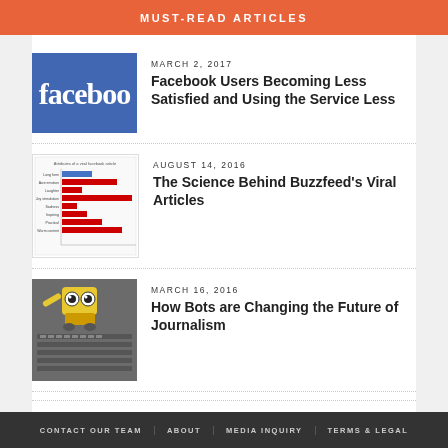MUST-READ ARTICLES
MARCH 2, 2017
Facebook Users Becoming Less Satisfied and Using the Service Less
[Figure (photo): Facebook logo on blue background, showing 'faceboo' text cropped]
AUGUST 14, 2016
The Science Behind Buzzfeed’s Viral Articles
[Figure (bar-chart): Horizontal bar chart about viral content sharing data]
MARCH 16, 2016
How Bots are Changing the Future of Journalism
[Figure (photo): WALL-E robot toy sitting on a keyboard]
CONTACT OUR TEAM | ABOUT | MEDIA INQUIRY | TERMS & LEGAL